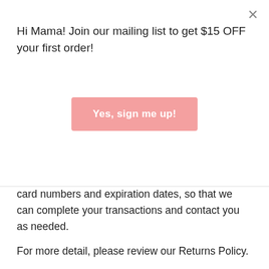Hi Mama! Join our mailing list to get $15 OFF your first order!
[Figure (other): Pink button with white text reading 'Yes, sign me up!']
card numbers and expiration dates, so that we can complete your transactions and contact you as needed.
For more detail, please review our Returns Policy.
SECTION 7 - OPTIONAL TOOLS
We may provide you with access to third-party tools over which we neither monitor nor have any control nor input. You acknowledge and agree that we provide access to such tools "as is" and "as available" without any warranties, representations or conditions of any kind and without any endorsement. We shall have no liability whatsoever arising from or relating to your use of optional third-party tools. Any use by you of optional tools offered through the site is entirely at your own risk and discretion and you should